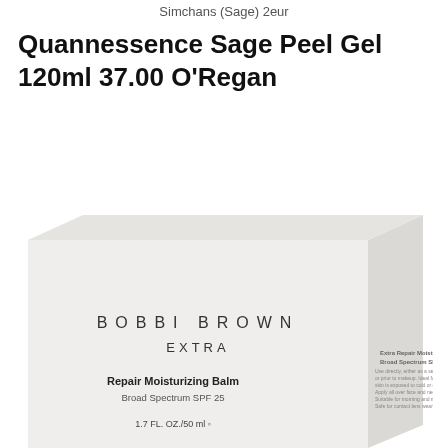Simchans (Sage) 2eur
Quannessence Sage Peel Gel 120ml 37.00 O'Regan
[Figure (photo): Bobbi Brown Extra Repair Moisturizing Balm Broad Spectrum SPF 25, 1.7 FL. OZ./50 ml product box, white packaging with spaced lettering logo]